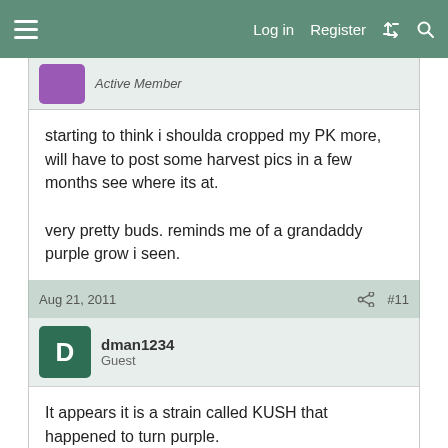Log in  Register
Active Member
starting to think i shoulda cropped my PK more, will have to post some harvest pics in a few months see where its at.

very pretty buds. reminds me of a grandaddy purple grow i seen.
Aug 21, 2011  #11
dman1234
Guest
It appears it is a strain called KUSH that happened to turn purple.

VERY VERY nice pics my friend.